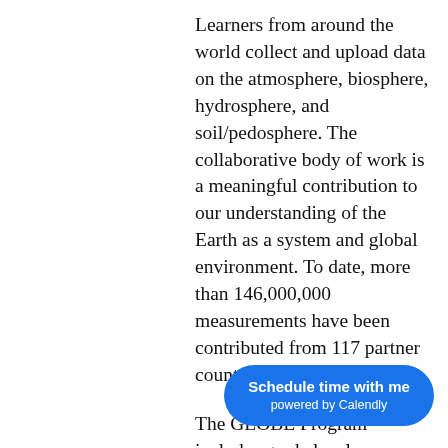Learners from around the world collect and upload data on the atmosphere, biosphere, hydrosphere, and soil/pedosphere. The collaborative body of work is a meaningful contribution to our understanding of the Earth as a system and global environment. To date, more than 146,000,000 measurements have been contributed from 117 partner countries.
The GLOBE Program includes grade level-appropriate, interdisciplinary activities and investigations which are closely aligned to NYSSLS. In addition, GLOBE field campaigns are regional and world... that provide students with hands-on
[Figure (other): Blue rounded button overlay reading 'Schedule time with me powered by Calendly']